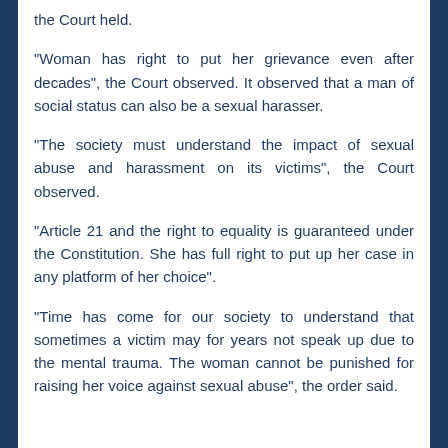the Court held.
"Woman has right to put her grievance even after decades", the Court observed. It observed that a man of social status can also be a sexual harasser.
"The society must understand the impact of sexual abuse and harassment on its victims", the Court observed.
"Article 21 and the right to equality is guaranteed under the Constitution. She has full right to put up her case in any platform of her choice".
"Time has come for our society to understand that sometimes a victim may for years not speak up due to the mental trauma. The woman cannot be punished for raising her voice against sexual abuse", the order said.